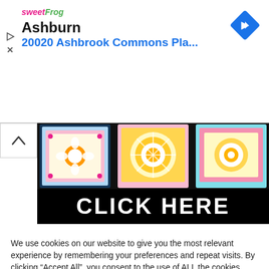[Figure (screenshot): sweetFrog frozen yogurt ad banner showing 'Ashburn' and '20020 Ashbrook Commons Pla...' with navigation arrow icon]
[Figure (photo): Three colorful crochet granny squares on black background with 'CLICK HERE' text overlay]
We use cookies on our website to give you the most relevant experience by remembering your preferences and repeat visits. By clicking “Accept All”, you consent to the use of ALL the cookies. However, you may visit "Cookie Settings" to provide a controlled consent.
Cookie Settings
Accept All